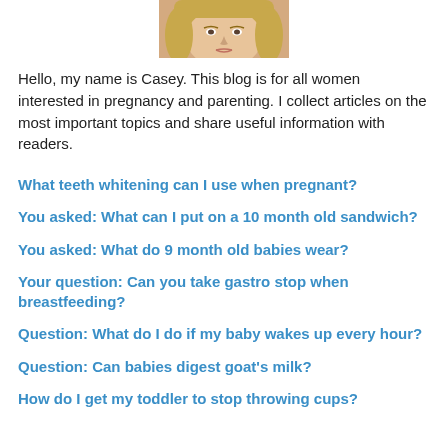[Figure (photo): Partial photo of a blonde woman's face cropped at the top of the page]
Hello, my name is Casey. This blog is for all women interested in pregnancy and parenting. I collect articles on the most important topics and share useful information with readers.
What teeth whitening can I use when pregnant?
You asked: What can I put on a 10 month old sandwich?
You asked: What do 9 month old babies wear?
Your question: Can you take gastro stop when breastfeeding?
Question: What do I do if my baby wakes up every hour?
Question: Can babies digest goat's milk?
How do I get my toddler to stop throwing cups?